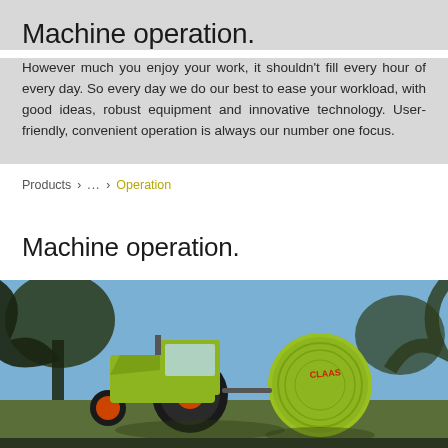Machine operation.
However much you enjoy your work, it shouldn't fill every hour of every day. So every day we do our best to ease your workload, with good ideas, robust equipment and innovative technology. User-friendly, convenient operation is always our number one focus.
Products > ... > Operation
Machine operation.
[Figure (photo): A yellow-green CLAAS tractor pulling a large round baler on a field, photographed from a low angle through tree branches against a blue sky. The CLAAS branding is visible on the round baler.]